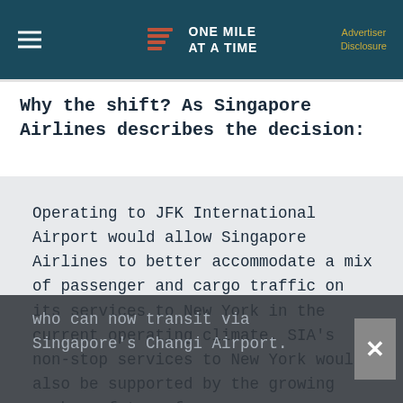ONE MILE AT A TIME | Advertiser Disclosure
Why the shift? As Singapore Airlines describes the decision:
Operating to JFK International Airport would allow Singapore Airlines to better accommodate a mix of passenger and cargo traffic on its services to New York in the current operating climate. SIA's non-stop services to New York would also be supported by the growing number of transfer passengers who can now transit via Singapore's Changi Airport.